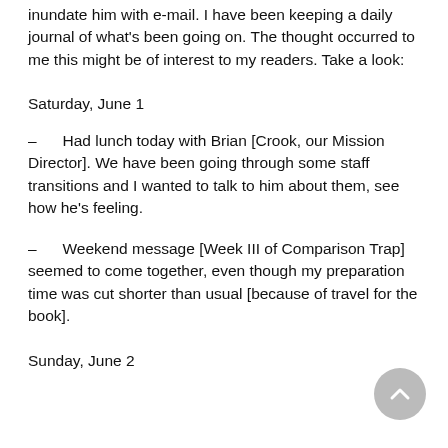inundate him with e-mail. I have been keeping a daily journal of what's been going on. The thought occurred to me this might be of interest to my readers. Take a look:
Saturday, June 1
– Had lunch today with Brian [Crook, our Mission Director]. We have been going through some staff transitions and I wanted to talk to him about them, see how he's feeling.
– Weekend message [Week III of Comparison Trap] seemed to come together, even though my preparation time was cut shorter than usual [because of travel for the book].
Sunday, June 2